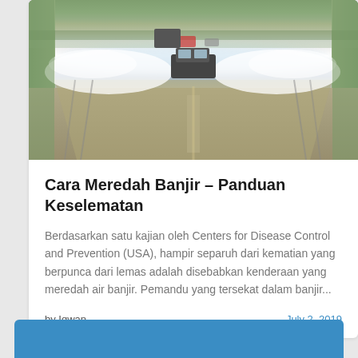[Figure (photo): A vehicle driving through floodwater on a road, spraying large water waves on both sides. Road markings visible in foreground, green vegetation on sides, other vehicles visible in background.]
Cara Meredah Banjir – Panduan Keselematan
Berdasarkan satu kajian oleh Centers for Disease Control and Prevention (USA), hampir separuh dari kematian yang berpunca dari lemas adalah disebabkan kenderaan yang meredah air banjir. Pemandu yang tersekat dalam banjir...
by Iqwan
July 2, 2019